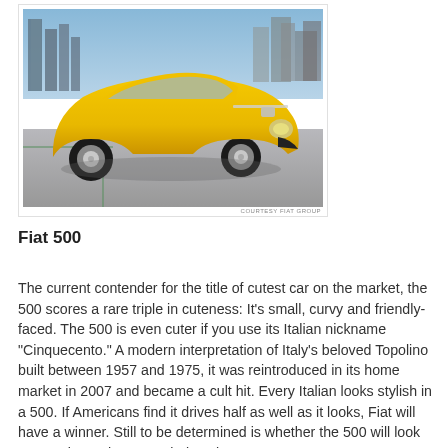[Figure (photo): A yellow Fiat 500 car photographed from a low front angle on a parking structure, with city buildings in the background. Photo credit: COURTESY FIAT GROUP.]
Fiat 500
The current contender for the title of cutest car on the market, the 500 scores a rare triple in cuteness: It's small, curvy and friendly-faced. The 500 is even cuter if you use its Italian nickname "Cinquecento." A modern interpretation of Italy's beloved Topolino built between 1957 and 1975, it was reintroduced in its home market in 2007 and became a cult hit. Every Italian looks stylish in a 500. If Americans find it drives half as well as it looks, Fiat will have a winner. Still to be determined is whether the 500 will look as cute in Rochester as it does in Rome.